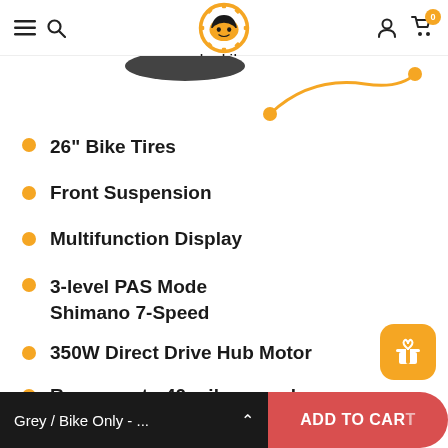heybike – navigation header with hamburger menu, search, logo, account, and cart icons
[Figure (illustration): Partial view of a bicycle with decorative orange curved line graphic]
26" Bike Tires
Front Suspension
Multifunction Display
3-level PAS Mode
Shimano 7-Speed
350W Direct Drive Hub Motor
Range up to 40 miles per charge
Grey / Bike Only - ...    ADD TO CART